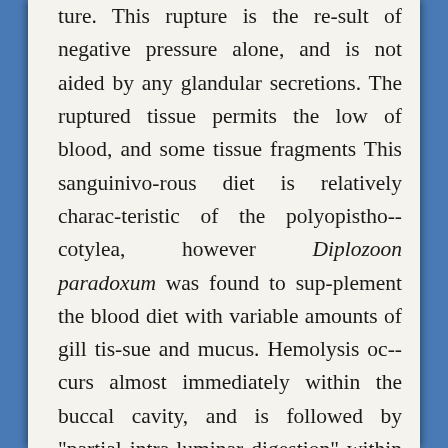ture. This rupture is the result of negative pressure alone, and is not aided by any glandular secretions. The ruptured tissue permits the low of blood, and some tissue fragments This sanguinivorous diet is relatively characteristic of the polyopisthocotylea, however Diplozoon paradoxum was found to supplement the blood diet with variable amounts of gill tissue and mucus. Hemolysis occurs almost immediately within the buccal cavity, and is followed by "partial intraluminar digestion" within the posterior, laterally-branched intestine. This intestine extends, in each indi-